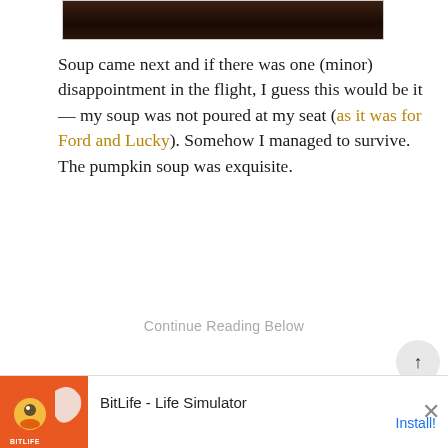[Figure (photo): Partial photo strip showing bottom of an image, dark toned]
Soup came next and if there was one (minor) disappointment in the flight, I guess this would be it — my soup was not poured at my seat (as it was for Ford and Lucky). Somehow I managed to survive. The pumpkin soup was exquisite.
Continue Reading Below
The Girl Uploaded A Short Video On TikTok & This...
Doctors Can't Explain It But This Fixes Toen...
[Figure (screenshot): BitLife - Life Simulator advertisement banner with orange background, emoji graphics, and Install button]